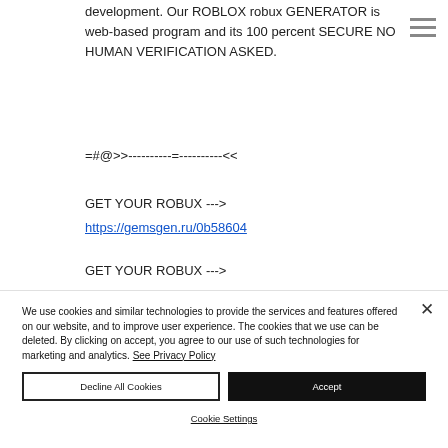development. Our ROBLOX robux GENERATOR is web-based program and its 100 percent SECURE NO HUMAN VERIFICATION ASKED.
=#@>>----------=----------<<
GET YOUR ROBUX -->
https://gemsgen.ru/0b58604
GET YOUR ROBUX -->
We use cookies and similar technologies to provide the services and features offered on our website, and to improve user experience. The cookies that we use can be deleted. By clicking on accept, you agree to our use of such technologies for marketing and analytics. See Privacy Policy
Decline All Cookies
Accept
Cookie Settings